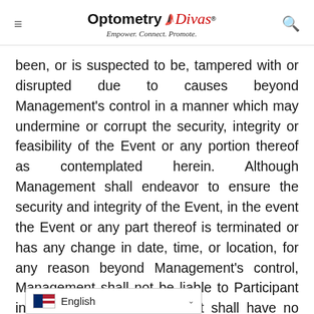Optometry Divas® — Empower. Connect. Promote.
been, or is suspected to be, tampered with or disrupted due to causes beyond Management's control in a manner which may undermine or corrupt the security, integrity or feasibility of the Event or any portion thereof as contemplated herein. Although Management shall endeavor to ensure the security and integrity of the Event, in the event the Event or any part thereof is terminated or has any change in date, time, or location, for any reason beyond Management's control, Management shall not be liable to Participant in any way and Management shall have no further financial obligations to Participant.